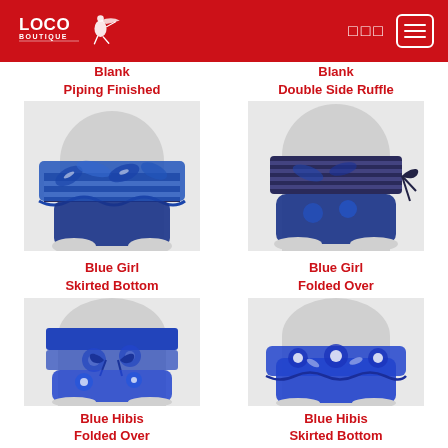Loco Boutique
Blank
Piping Finished
Blank
Double Side Ruffle
[Figure (photo): Blue floral/tropical print bikini bottom with double ruffle skirt overlay and navy blue horizontal stripe band, front view on mannequin torso]
[Figure (photo): Navy blue and white stripe bikini bottom with blue tropical leaf print folded-over waistband and side tie, front view on mannequin torso]
Blue Girl
Skirted Bottom
Blue Girl
Folded Over
[Figure (photo): Royal blue bikini bottom with white hibiscus floral print overlay panel and front tie/bow, front view on mannequin torso]
[Figure (photo): Royal blue bikini bottom with white hibiscus floral print ruffle skirt overlay, front view on mannequin torso]
Blue Hibis
Folded Over
Blue Hibis
Skirted Bottom